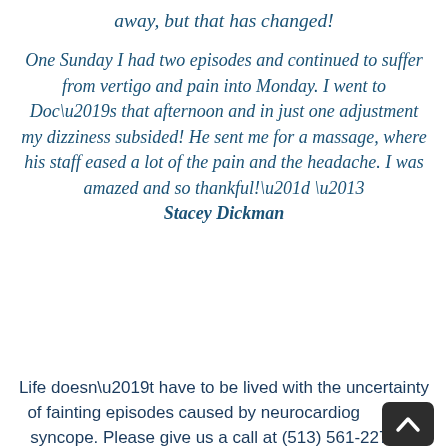away, but that has changed!
One Sunday I had two episodes and continued to suffer from vertigo and pain into Monday. I went to Doc’s that afternoon and in just one adjustment my dizziness subsided! He sent me for a massage, where his staff eased a lot of the pain and the headache. I was amazed and so thankful!” – Stacey Dickman
Life doesn’t have to be lived with the uncertainty of fainting episodes caused by neurocardiogenic syncope. Please give us a call at (513) 561-2273 or Schedule an Appointment at one of our four Cincinnati area office locations.